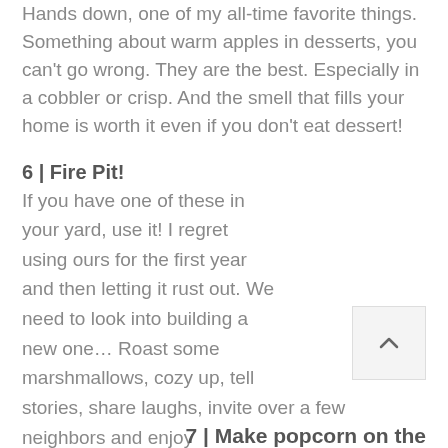Hands down, one of my all-time favorite things. Something about warm apples in desserts, you can't go wrong. They are the best. Especially in a cobbler or crisp. And the smell that fills your home is worth it even if you don't eat dessert!
6 | Fire Pit!
If you have one of these in your yard, use it! I regret using ours for the first year and then letting it rust out. We need to look into building a new one… Roast some marshmallows, cozy up, tell stories, share laughs, invite over a few neighbors and enjoy the amazing weather we have right now.
7 | Make popcorn on the